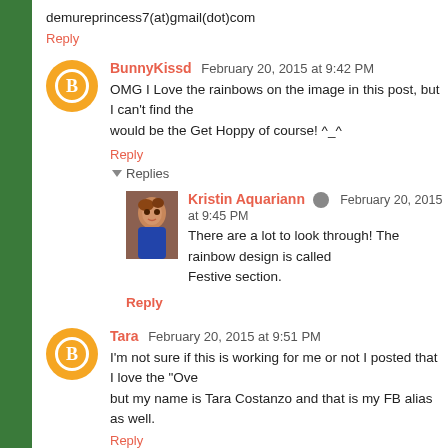demureprincess7(at)gmail(dot)com
Reply
BunnyKissd  February 20, 2015 at 9:42 PM
OMG I Love the rainbows on the image in this post, but I can't find the would be the Get Hoppy of course! ^_^
Reply
Replies
Kristin Aquariann  February 20, 2015 at 9:45 PM
There are a lot to look through! The rainbow design is called Festive section.
Reply
Tara  February 20, 2015 at 9:51 PM
I'm not sure if this is working for me or not I posted that I love the "Ove but my name is Tara Costanzo and that is my FB alias as well.
Reply